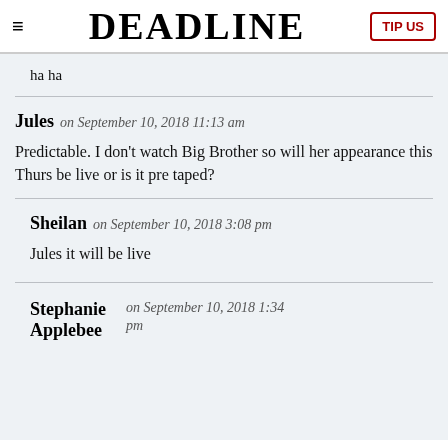DEADLINE | TIP US
ha ha
Jules on September 10, 2018 11:13 am
Predictable. I don't watch Big Brother so will her appearance this Thurs be live or is it pre taped?
Sheilan on September 10, 2018 3:08 pm
Jules it will be live
Stephanie Applebee on September 10, 2018 1:34 pm